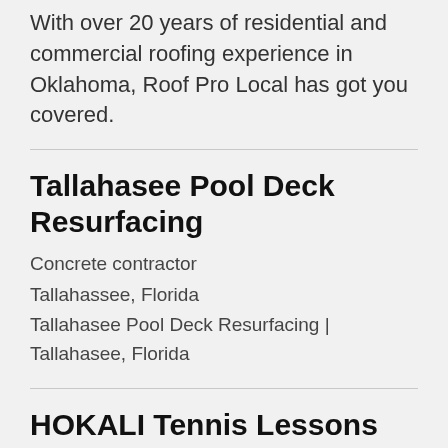With over 20 years of residential and commercial roofing experience in Oklahoma, Roof Pro Local has got you covered.
Tallahasee Pool Deck Resurfacing
Concrete contractor
Tallahassee, Florida
Tallahasee Pool Deck Resurfacing | Tallahasee, Florida
HOKALI Tennis Lessons
Sports school